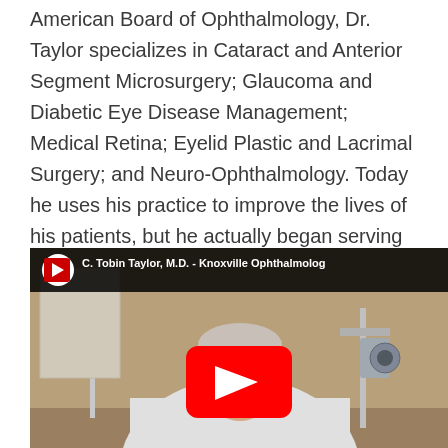American Board of Ophthalmology, Dr. Taylor specializes in Cataract and Anterior Segment Microsurgery; Glaucoma and Diabetic Eye Disease Management; Medical Retina; Eyelid Plastic and Lacrimal Surgery; and Neuro-Ophthalmology. Today he uses his practice to improve the lives of his patients, but he actually began serving the needs of others at a very early age.
[Figure (screenshot): YouTube video thumbnail showing C. Tobin Taylor, M.D. - Knoxville Ophthalmology. A doctor in a white coat is seated in a medical examination room with ophthalmic equipment visible. A red YouTube play button is centered on the video.]